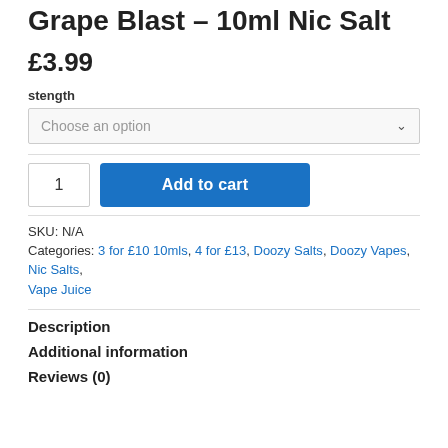Grape Blast – 10ml Nic Salt
£3.99
stength
Choose an option
1  Add to cart
SKU: N/A
Categories: 3 for £10 10mls, 4 for £13, Doozy Salts, Doozy Vapes, Nic Salts, Vape Juice
Description
Additional information
Reviews (0)